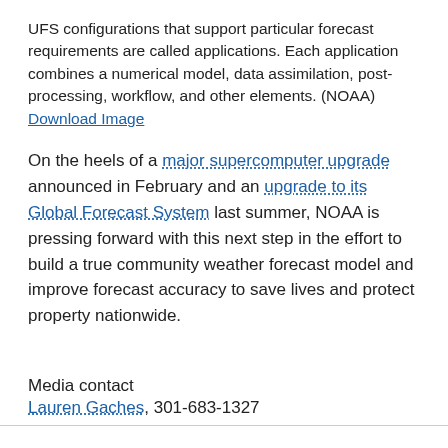UFS configurations that support particular forecast requirements are called applications. Each application combines a numerical model, data assimilation, post-processing, workflow, and other elements. (NOAA) Download Image
On the heels of a major supercomputer upgrade announced in February and an upgrade to its Global Forecast System last summer, NOAA is pressing forward with this next step in the effort to build a true community weather forecast model and improve forecast accuracy to save lives and protect property nationwide.
Media contact
Lauren Gaches, 301-683-1327